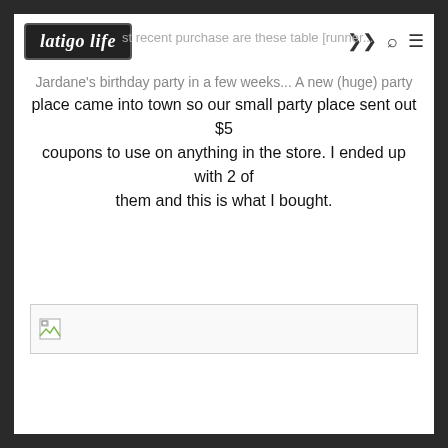latigo life
...most recent purchase are these table [runner...] Jardane's birthday party in a few weeks... A new (huge) party place came into town so our small party place sent out $5 coupons to use on anything in the store. I ended up with 2 of them and this is what I bought.
[Figure (other): Broken image placeholder icon]